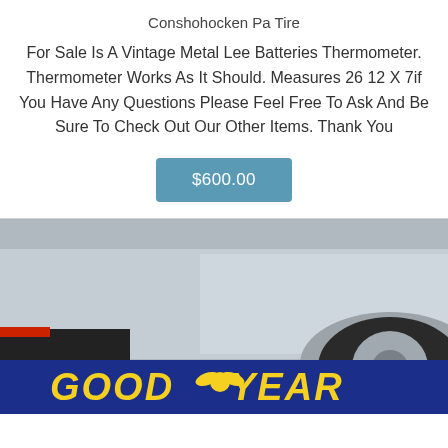Conshohocken Pa Tire
For Sale Is A Vintage Metal Lee Batteries Thermometer. Thermometer Works As It Should. Measures 26 12 X 7if You Have Any Questions Please Feel Free To Ask And Be Sure To Check Out Our Other Items. Thank You
$600.00
[Figure (photo): Photo showing a silver/grey vehicle with a Goodyear tire shop sign visible at the bottom in blue and yellow.]